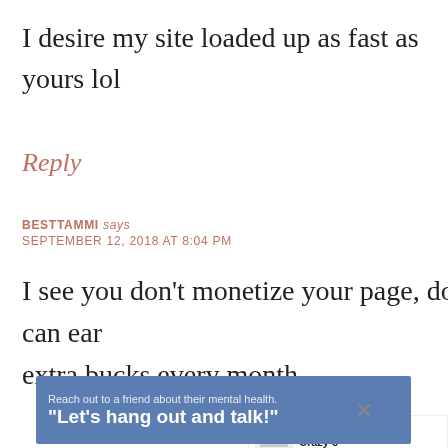I desire my site loaded up as fast as yours lol
Reply
BESTTAMMI says
SEPTEMBER 12, 2018 AT 8:04 PM
I see you don't monetize your page, don't waste your traffic, you can earn extra bucks every month. You can use the best adsense
[Figure (screenshot): Floating social buttons: heart icon in teal circle with count 3, share icon]
[Figure (screenshot): What's Next widget showing Crazy 8 Birthday Party]
[Figure (screenshot): Ad banner: Reach out to a friend about their mental health. Let's hang out and talk!]